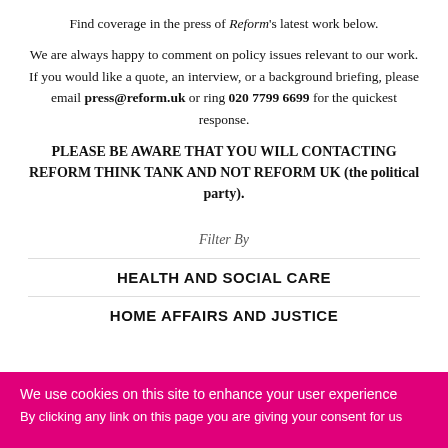Find coverage in the press of Reform's latest work below.
We are always happy to comment on policy issues relevant to our work. If you would like a quote, an interview, or a background briefing, please email press@reform.uk or ring 020 7799 6699 for the quickest response.
PLEASE BE AWARE THAT YOU WILL CONTACTING REFORM THINK TANK AND NOT REFORM UK (the political party).
Filter By
HEALTH AND SOCIAL CARE
HOME AFFAIRS AND JUSTICE
We use cookies on this site to enhance your user experience
By clicking any link on this page you are giving your consent for us